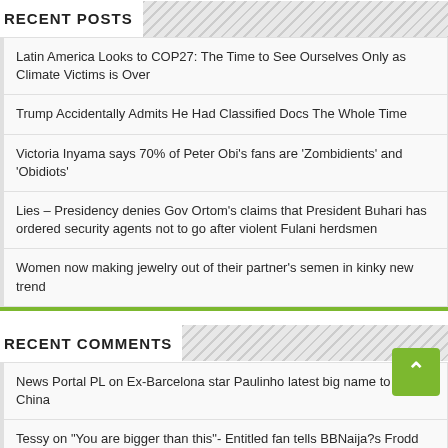RECENT POSTS
Latin America Looks to COP27: The Time to See Ourselves Only as Climate Victims is Over
Trump Accidentally Admits He Had Classified Docs The Whole Time
Victoria Inyama says 70% of Peter Obi’s fans are ‘Zombidients’ and ‘Obidiots’
Lies – Presidency denies Gov Ortom’s claims that President Buhari has ordered security agents not to go after violent Fulani herdsmen
Women now making jewelry out of their partner’s semen in kinky new trend
RECENT COMMENTS
News Portal PL on Ex-Barcelona star Paulinho latest big name to leave China
Tessy on “You are bigger than this”- Entitled fan tells BBNaija?s Frodd